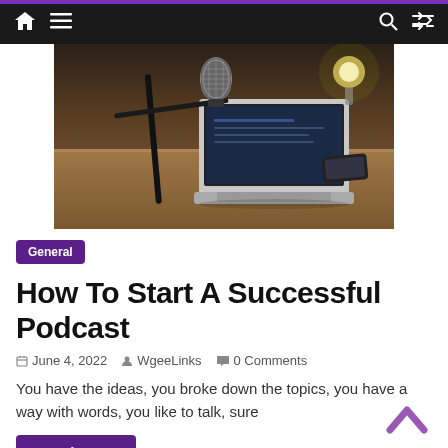Navigation bar with home, menu, search, and shuffle icons
[Figure (photo): A podcast microphone on a boom arm stand in front of a laptop on a wooden desk, with a lamp in the background. Studio podcast recording setup.]
General
How To Start A Successful Podcast
June 4, 2022   WgeeLinks   0 Comments
You have the ideas, you broke down the topics, you have a way with words, you like to talk, sure
Read more